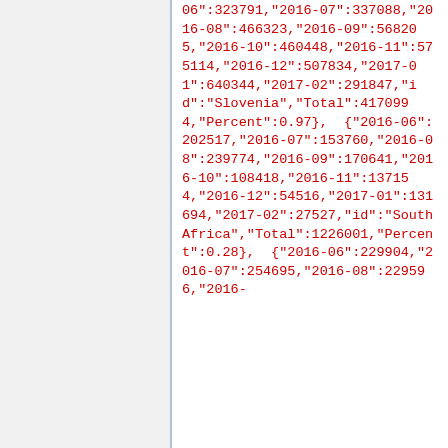06":323791,"2016-07":337088,"2016-08":466323,"2016-09":568205,"2016-10":460448,"2016-11":575114,"2016-12":507834,"2017-01":640344,"2017-02":291847,"id":"Slovenia","Total":4170994,"Percent":0.97}, {"2016-06":202517,"2016-07":153760,"2016-08":239774,"2016-09":170641,"2016-10":108418,"2016-11":137154,"2016-12":54516,"2017-01":131694,"2017-02":27527,"id":"South Africa","Total":1226001,"Percent":0.28}, {"2016-06":229904,"2016-07":254695,"2016-08":229596,"2016-